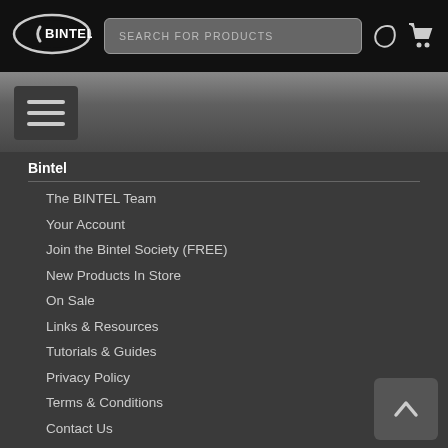BINTEL — SEARCH FOR PRODUCTS
[Figure (screenshot): Navigation hamburger menu button with three horizontal bars on dark background]
Bintel
The BINTEL Team
Your Account
Join the Bintel Society (FREE)
New Products In Store
On Sale
Links & Resources
Tutorials & Guides
Privacy Policy
Terms & Conditions
Contact Us
Pay Later with zipMoney
Astronomy Tools
Accessories